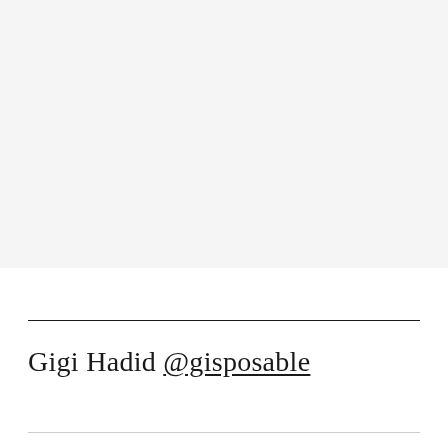[Figure (photo): Large light gray rectangular area occupying the top portion of the page, representing an image placeholder or blank photo area.]
Gigi Hadid @gisposable